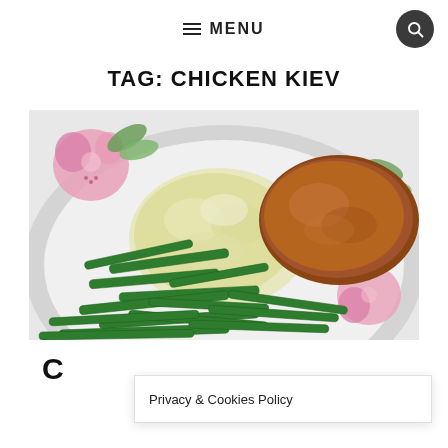≡ MENU
TAG: CHICKEN KIEV
[Figure (photo): A plate with green beans, mashed potatoes/cauliflower, and a breaded chicken kiev on a floral-patterned plate.]
C
Privacy & Cookies Policy